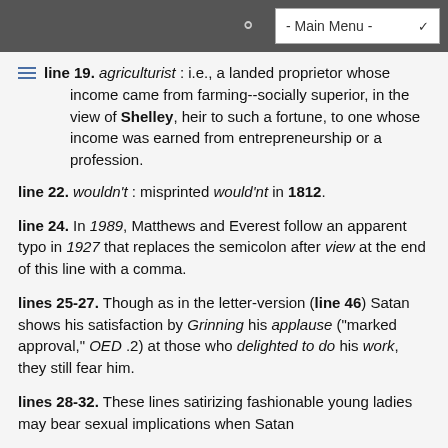- Main Menu -
line 19. agriculturist : i.e., a landed proprietor whose income came from farming--socially superior, in the view of Shelley, heir to such a fortune, to one whose income was earned from entrepreneurship or a profession.
line 22. wouldn't : misprinted would'nt in 1812.
line 24. In 1989, Matthews and Everest follow an apparent typo in 1927 that replaces the semicolon after view at the end of this line with a comma.
lines 25-27. Though as in the letter-version (line 46) Satan shows his satisfaction by Grinning his applause ("marked approval," OED .2) at those who delighted to do his work, they still fear him.
lines 28-32. These lines satirizing fashionable young ladies may bear sexual implications when Satan